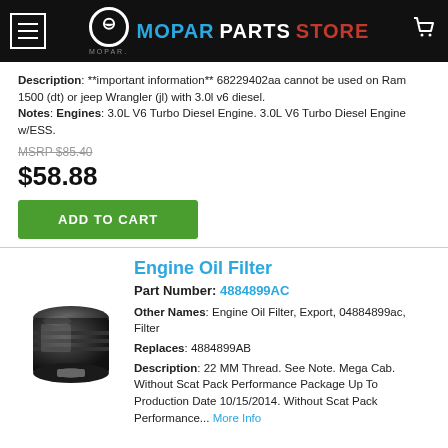MOPAR PARTS STORE
Description: **important information** 68229402aa cannot be used on Ram 1500 (dt) or jeep Wrangler (jl) with 3.0l v6 diesel. Notes: Engines: 3.0L V6 Turbo Diesel Engine. 3.0L V6 Turbo Diesel Engine w/ESS.
MSRP $85.40
$58.88
ADD TO CART
Engine Oil Filter
Part Number: 4884899AC
Other Names: Engine Oil Filter, Export, 04884899ac, Filter
Replaces: 4884899AB
Description: 22 MM Thread. See Note. Mega Cab. Without Scat Pack Performance Package Up To Production Date 10/15/2014. Without Scat Pack Performance... More Info